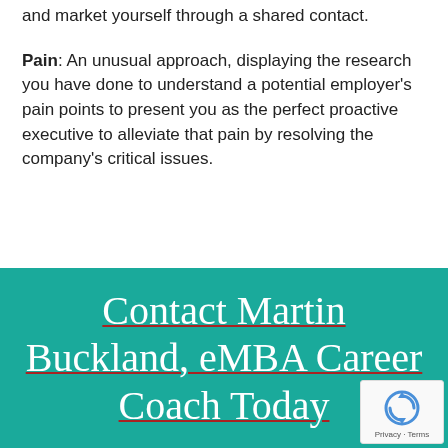and market yourself through a shared contact.
Pain: An unusual approach, displaying the research you have done to understand a potential employer's pain points to present you as the perfect proactive executive to alleviate that pain by resolving the company's critical issues.
Contact Martin Buckland, eMBA Career Coach Today
[Figure (logo): reCAPTCHA badge with circular arrow icon and Privacy · Terms text]